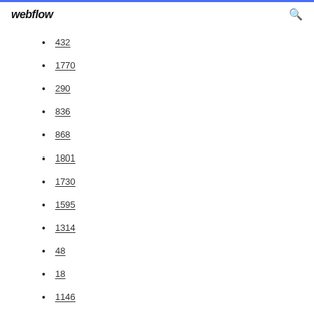webflow
432
1770
290
836
868
1801
1730
1595
1314
48
18
1146